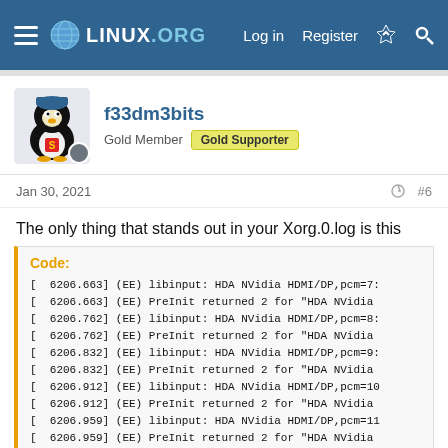LINUX.ORG | Log in | Register
[Figure (screenshot): Linux.org forum navigation bar with hamburger menu, globe logo, LINUX.ORG text, Log in, Register, and icon buttons]
f33dm3bits
Gold Member  Gold Supporter
Jan 30, 2021  #6
The only thing that stands out in your Xorg.0.log is this
Code:
[  6206.663] (EE) libinput: HDA NVidia HDMI/DP,pcm=7:
[  6206.663] (EE) PreInit returned 2 for "HDA NVidia
[  6206.762] (EE) libinput: HDA NVidia HDMI/DP,pcm=8:
[  6206.762] (EE) PreInit returned 2 for "HDA NVidia
[  6206.832] (EE) libinput: HDA NVidia HDMI/DP,pcm=9:
[  6206.832] (EE) PreInit returned 2 for "HDA NVidia
[  6206.912] (EE) libinput: HDA NVidia HDMI/DP,pcm=10
[  6206.912] (EE) PreInit returned 2 for "HDA NVidia
[  6206.959] (EE) libinput: HDA NVidia HDMI/DP,pcm=11
[  6206.959] (EE) PreInit returned 2 for "HDA NVidia
[  6207.002] (EE) libinput: HDA NVidia HDMI/DP,pcm=3:
[  6207.002] (EE) PreInit returned 2 for "HDA NVidia